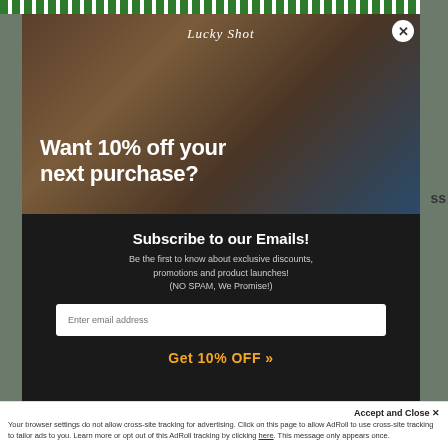[Figure (screenshot): Lucky Shot promotional modal popup with hero image of bartender pouring drinks, showing 10% off discount offer and email subscription form]
Want 10% off your next purchase?
Subscribe to our Emails!
Be the first to know about exclusive discounts, promotions and product launches! (NO SPAM, We Promise!)
Enter email address
Get 10% OFF »
Accept and Close ✕
Your browser settings do not allow cross-site tracking for advertising. Click on this page to allow AdRoll to use cross-site tracking to tailor ads to you. Learn more or opt out of this AdRoll tracking by clicking here. This message only appears once.